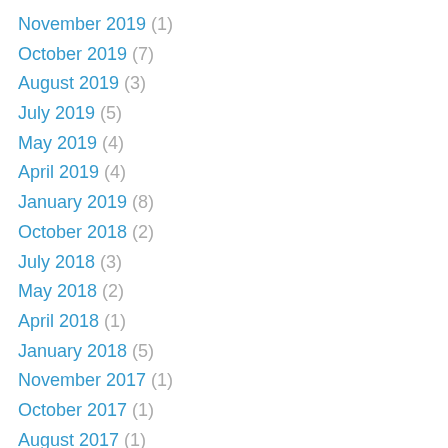November 2019 (1)
October 2019 (7)
August 2019 (3)
July 2019 (5)
May 2019 (4)
April 2019 (4)
January 2019 (8)
October 2018 (2)
July 2018 (3)
May 2018 (2)
April 2018 (1)
January 2018 (5)
November 2017 (1)
October 2017 (1)
August 2017 (1)
July 2017 (1)
June 2017 (1)
May 2017 (5)
April 2017 (1)
March 2017 (1)